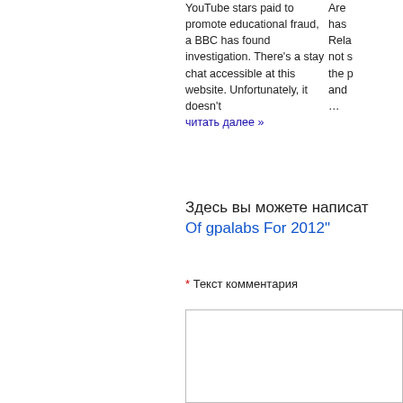YouTube stars paid to promote educational fraud, a BBC has found investigation. There's a stay chat accessible at this website. Unfortunately, it doesn't читать далее »
Are... has Rela not s the p and ...
Здесь вы можете написат Of gpalabs For 2012"
[Figure (screenshot): Three empty text input fields stacked vertically]
* Текст комментария
[Figure (screenshot): Large textarea input field for comment text]